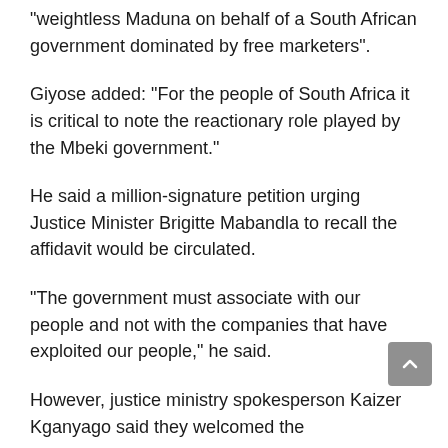“weightless Maduna on behalf of a South African government dominated by free marketers”.
Giyose added: “For the people of South Africa it is critical to note the reactionary role played by the Mbeki government.”
He said a million-signature petition urging Justice Minister Brigitte Mabandla to recall the affidavit would be circulated.
“The government must associate with our people and not with the companies that have exploited our people,” he said.
However, justice ministry spokesperson Kaizer Kganyago said they welcomed the